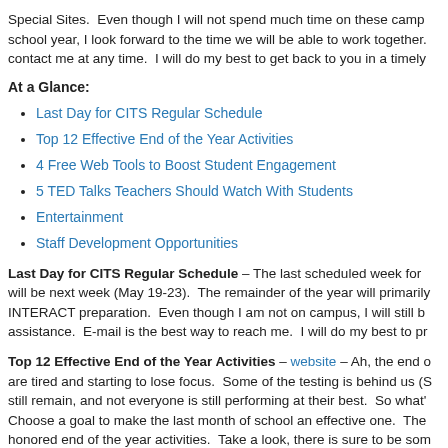Special Sites.  Even though I will not spend much time on these camp school year, I look forward to the time we will be able to work together. contact me at any time.  I will do my best to get back to you in a timely
At a Glance:
Last Day for CITS Regular Schedule
Top 12 Effective End of the Year Activities
4 Free Web Tools to Boost Student Engagement
5 TED Talks Teachers Should Watch With Students
Entertainment
Staff Development Opportunities
Last Day for CITS Regular Schedule – The last scheduled week for will be next week (May 19-23).  The remainder of the year will primarily INTERACT preparation.  Even though I am not on campus, I will still b assistance.  E-mail is the best way to reach me.  I will do my best to pr
Top 12 Effective End of the Year Activities – website – Ah, the end o are tired and starting to lose focus.  Some of the testing is behind us (S still remain, and not everyone is still performing at their best.  So what' Choose a goal to make the last month of school an effective one.  The honored end of the year activities.  Take a look, there is sure to be som